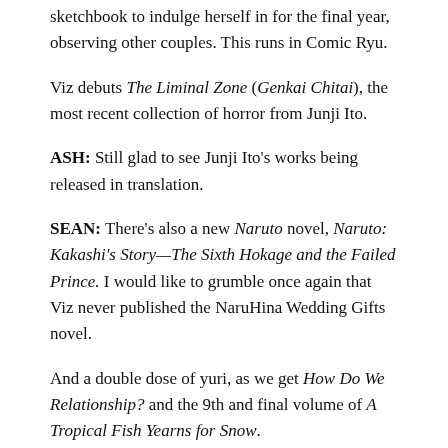sketchbook to indulge herself in for the final year, observing other couples. This runs in Comic Ryu.
Viz debuts The Liminal Zone (Genkai Chitai), the most recent collection of horror from Junji Ito.
ASH: Still glad to see Junji Ito's works being released in translation.
SEAN: There's also a new Naruto novel, Naruto: Kakashi's Story—The Sixth Hokage and the Failed Prince. I would like to grumble once again that Viz never published the NaruHina Wedding Gifts novel.
And a double dose of yuri, as we get How Do We Relationship? and the 9th and final volume of A Tropical Fish Yearns for Snow.
ASH: Those have been great series, too.
SEAN: Yen On has new volumes for three of its longer